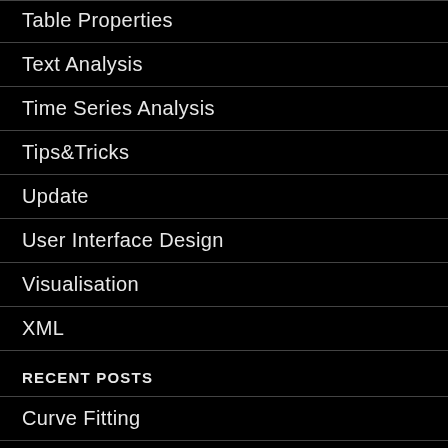Table Properties
Text Analysis
Time Series Analysis
Tips&Tricks
Update
User Interface Design
Visualisation
XML
RECENT POSTS
Curve Fitting
Working with String Variables